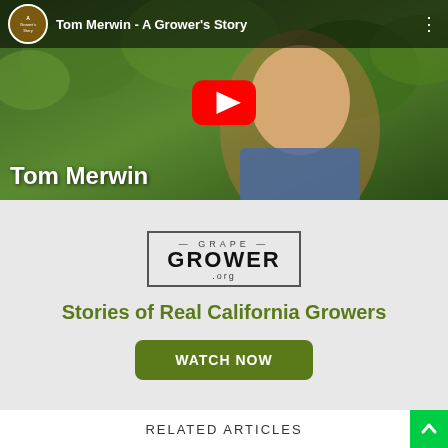[Figure (screenshot): YouTube video thumbnail showing Tom Merwin, a man in a plaid shirt, with a red YouTube play button overlaid. Video title reads 'Tom Merwin - A Grower's Story'. Channel icon visible top left. Name 'Tom Merwin' shown at bottom left.]
[Figure (logo): Grape Grower .org logo in a rectangular border. Text: GRAPE / GROWER / .org]
Stories of Real California Growers
WATCH NOW
RELATED ARTICLES